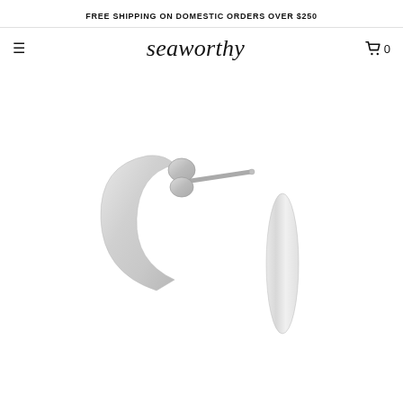FREE SHIPPING ON DOMESTIC ORDERS OVER $250
seaworthy
[Figure (photo): Two silver stud earrings shown from different angles: left earring shows a curved arc/crescent shape with a butterfly clutch backing visible, right earring shows a smooth elongated oval/teardrop shape from the side. Both are polished sterling silver.]